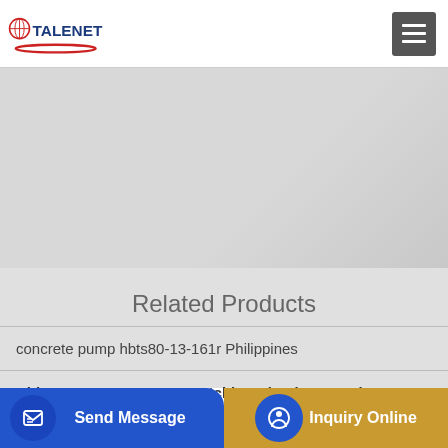TALENET
[Figure (other): Hero image area with light gray background]
Related Products
concrete pump hbts80-13-161r Philippines
China Factory Concrete Batching Planthzs180 Shacman
drum mixer double shaft for
Send Message | Inquiry Online